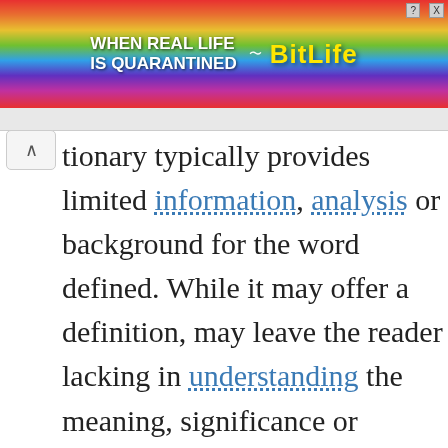[Figure (screenshot): BitLife mobile game advertisement banner with rainbow background, showing text 'WHEN REAL LIFE IS QUARANTINED' and 'BitLife' logo with emoji character]
tionary typically provides limited information, analysis or background for the word defined. While it may offer a definition, may leave the reader lacking in understanding the meaning, significance or limitations of a term, and how the term relates to a broader field of knowledge.

To address those needs, an encyclopedia arti is typically not limited to simple definitions,